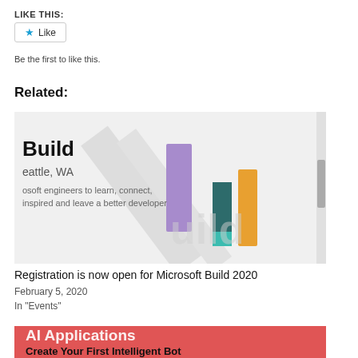LIKE THIS:
Like
Be the first to like this.
Related:
[Figure (photo): Microsoft Build 2020 promotional image showing the Build logo with colorful 3D geometric shapes including purple, teal, dark teal, and orange-yellow cylinders/prisms on a light gray background. Text overlaid: 'Build', 'Seattle, WA', 'osoft engineers to learn, connect, inspired and leave a better developer']
Registration is now open for Microsoft Build 2020
February 5, 2020
In "Events"
[Figure (photo): Red/salmon background card showing text 'AI Applications' and 'Create Your First Intelligent Bot' in bold, partially visible at bottom of page]